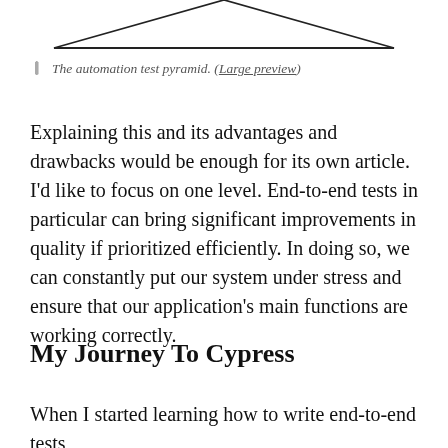[Figure (illustration): Bottom portion of a triangle diagram representing the automation test pyramid, showing only the base and lower sides of the triangle outline.]
The automation test pyramid. (Large preview)
Explaining this and its advantages and drawbacks would be enough for its own article. I'd like to focus on one level. End-to-end tests in particular can bring significant improvements in quality if prioritized efficiently. In doing so, we can constantly put our system under stress and ensure that our application's main functions are working correctly.
My Journey To Cypress
When I started learning how to write end-to-end tests,